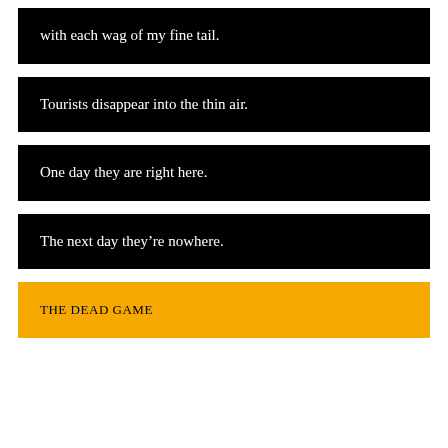with each wag of my fine tail.
Tourists disappear into the thin air.
One day they are right here.
The next day they’re nowhere.
THE DEAD GAME